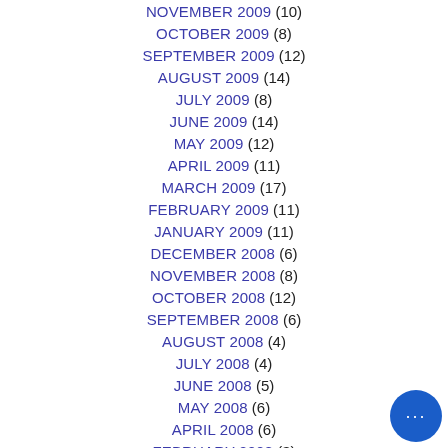NOVEMBER 2009 (10)
OCTOBER 2009 (8)
SEPTEMBER 2009 (12)
AUGUST 2009 (14)
JULY 2009 (8)
JUNE 2009 (14)
MAY 2009 (12)
APRIL 2009 (11)
MARCH 2009 (17)
FEBRUARY 2009 (11)
JANUARY 2009 (11)
DECEMBER 2008 (6)
NOVEMBER 2008 (8)
OCTOBER 2008 (12)
SEPTEMBER 2008 (6)
AUGUST 2008 (4)
JULY 2008 (4)
JUNE 2008 (5)
MAY 2008 (6)
APRIL 2008 (6)
FEBRUARY 2008 (3)
JANUARY 2008 (4)
NOVEMBER 2007 (3)